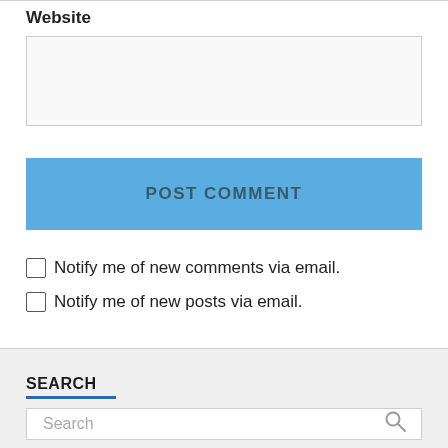Website
[Figure (screenshot): Website text input field (empty)]
POST COMMENT
Notify me of new comments via email.
Notify me of new posts via email.
SEARCH
[Figure (screenshot): Search input box with placeholder text 'Search' and a magnifying glass icon on the right]